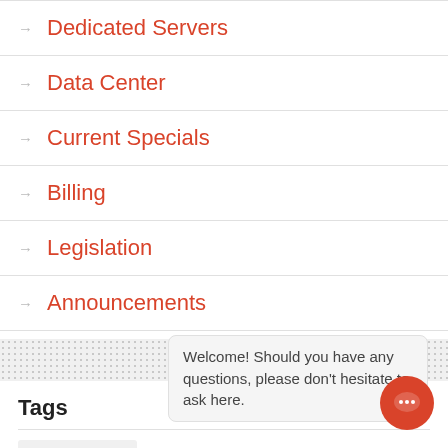→ Dedicated Servers
→ Data Center
→ Current Specials
→ Billing
→ Legislation
→ Announcements
Tags
• Summer sale
• Swiss Parliament
• Legislation
• Copyright
Welcome! Should you have any questions, please don't hesitate to ask here.